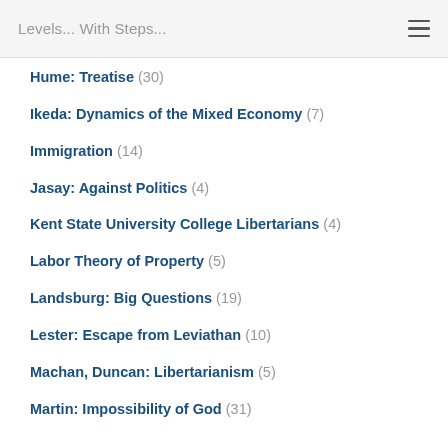Levels... With Steps...
Hume: Treatise (30)
Ikeda: Dynamics of the Mixed Economy (7)
Immigration (14)
Jasay: Against Politics (4)
Kent State University College Libertarians (4)
Labor Theory of Property (5)
Landsburg: Big Questions (19)
Lester: Escape from Leviathan (10)
Machan, Duncan: Libertarianism (5)
Martin: Impossibility of God (31)